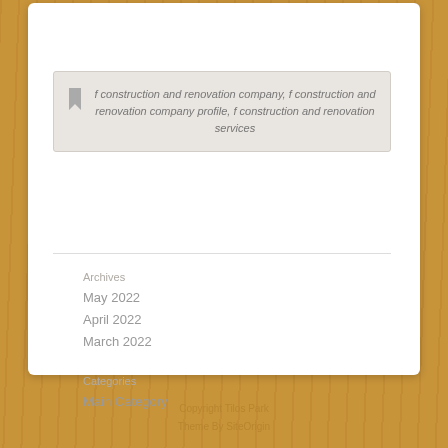f construction and renovation company, f construction and renovation company profile, f construction and renovation services
Archives
May 2022
April 2022
March 2022
Categories
Main Category
Copyright Tilos Park
Theme By SiteOrigin